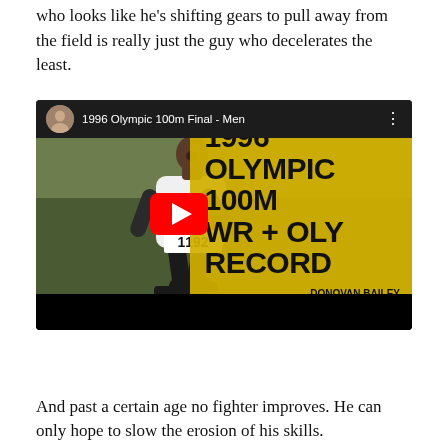who looks like he's shifting gears to pull away from the field is really just the guy who decelerates the least.
[Figure (screenshot): YouTube video thumbnail for '1996 Olympic 100m Final - Men' showing Donovan Bailey crossing the finish line in a Canada jersey wearing bib 1192, with overlay text: 1996 OLYMPIC 100M WR + OLY RECORD, DONOVAN BAILEY 9.84 SECONDS. A red YouTube play button is overlaid in the center.]
And past a certain age no fighter improves. He can only hope to slow the erosion of his skills.